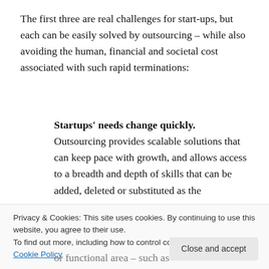The first three are real challenges for start-ups, but each can be easily solved by outsourcing – while also avoiding the human, financial and societal cost associated with such rapid terminations:
Startups' needs change quickly. Outsourcing provides scalable solutions that can keep pace with growth, and allows access to a breadth and depth of skills that can be added, deleted or substituted as the
Privacy & Cookies: This site uses cookies. By continuing to use this website, you agree to their use.
To find out more, including how to control cookies, see here: Cookie Policy
or functional area – such as finance/accounting,